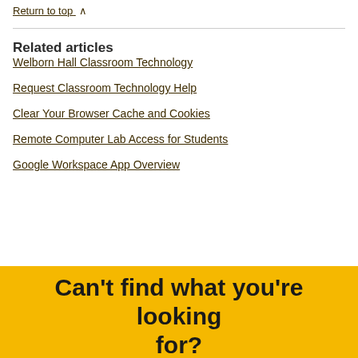Return to top ∧
Related articles
Welborn Hall Classroom Technology
Request Classroom Technology Help
Clear Your Browser Cache and Cookies
Remote Computer Lab Access for Students
Google Workspace App Overview
Can't find what you're looking for?